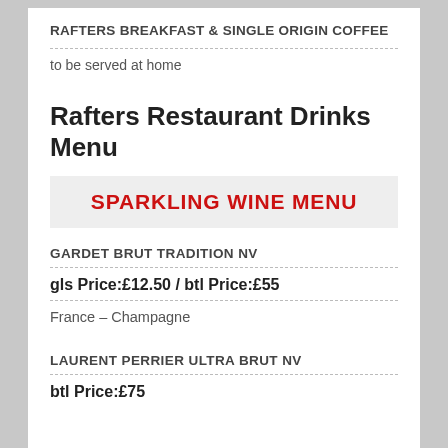RAFTERS BREAKFAST & SINGLE ORIGIN COFFEE
to be served at home
Rafters Restaurant Drinks Menu
SPARKLING WINE MENU
GARDET BRUT TRADITION NV
gls Price:£12.50 / btl Price:£55
France – Champagne
LAURENT PERRIER ULTRA BRUT NV
btl Price:£75